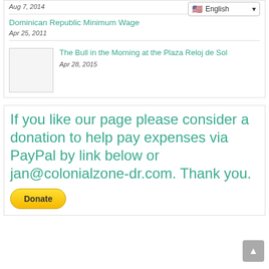Aug 7, 2014
English
Dominican Republic Minimum Wage
Apr 25, 2011
[Figure (photo): Thumbnail image placeholder for article about The Bull in the Morning at the Plaza Reloj de Sol]
The Bull in the Morning at the Plaza Reloj de Sol
Apr 28, 2015
If you like our page please consider a donation to help pay expenses via PayPal by link below or jan@colonialzone-dr.com. Thank you.
[Figure (other): PayPal Donate button]